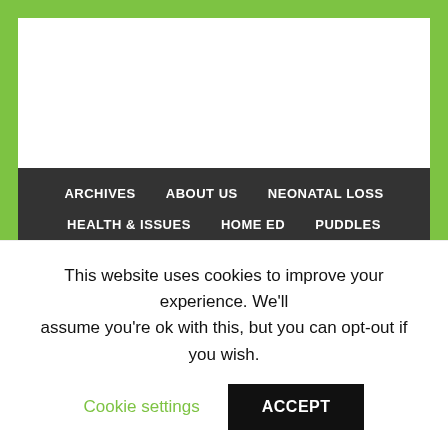ARCHIVES | ABOUT US | NEONATAL LOSS | HEALTH & ISSUES | HOME ED | PUDDLES | CONTACT
Poetry Collection
This website uses cookies to improve your experience. We'll assume you're ok with this, but you can opt-out if you wish.
Cookie settings  ACCEPT